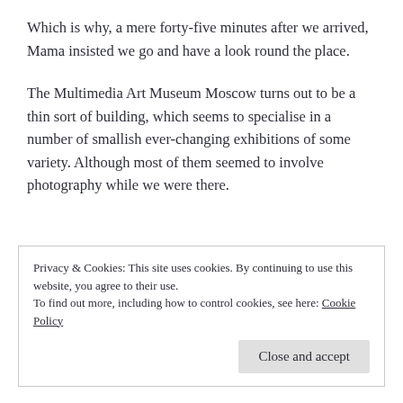Which is why, a mere forty-five minutes after we arrived, Mama insisted we go and have a look round the place.
The Multimedia Art Museum Moscow turns out to be a thin sort of building, which seems to specialise in a number of smallish ever-changing exhibitions of some variety. Although most of them seemed to involve photography while we were there.
Privacy & Cookies: This site uses cookies. By continuing to use this website, you agree to their use.
To find out more, including how to control cookies, see here: Cookie Policy